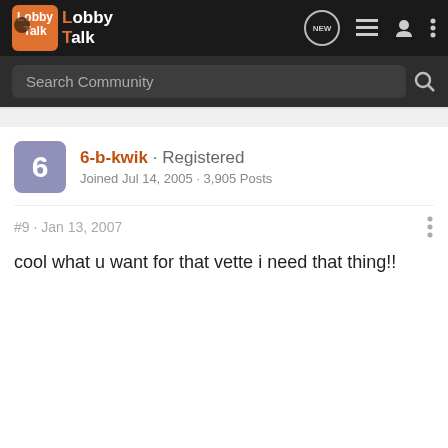LobbyTalk — navigation bar with logo, NEW button, list icon, user icon, more options
Search Community
6-b-kwik · Registered
Joined Jul 14, 2005 · 3,905 Posts
#9 · Jan 13, 2007
cool what u want for that vette i need that thing!!